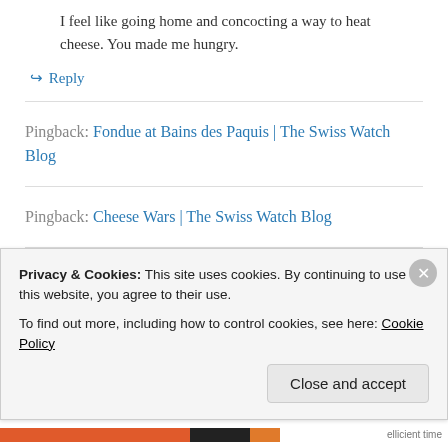I feel like going home and concocting a way to heat cheese. You made me hungry.
↳ Reply
Pingback: Fondue at Bains des Paquis | The Swiss Watch Blog
Pingback: Cheese Wars | The Swiss Watch Blog
Pingback: The Land of Chocolate and Cheese | The...
Privacy & Cookies: This site uses cookies. By continuing to use this website, you agree to their use.
To find out more, including how to control cookies, see here: Cookie Policy
Close and accept